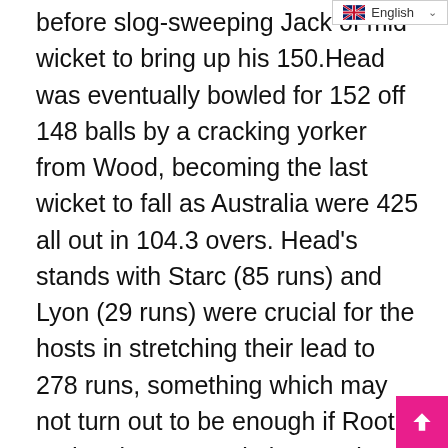English (language selector)
before slog-sweeping Jack [cut off] of mid-wicket to bring up his 150. Head was eventually bowled for 152 off 148 balls by a cracking yorker from Wood, becoming the last wicket to fall as Australia were 425 all out in 104.3 overs. Head's stands with Starc (85 runs) and Lyon (29 runs) were crucial for the hosts in stretching their lead to 278 runs, something which may not turn out to be enough if Root and Malan's association continues on Saturday. Brief scores: England 147 & 220/2 in 70 overs (Joe Root 86 not out, Dawid Malan 80 not out, Pat Cummins 1/43, Mitchell Starc 1/60) trail Australia 425 in 104.3 overs (Travis Head 152, David Warner 94, Ollie Robinson 3/58, Mark Wood 3/85) by 58...